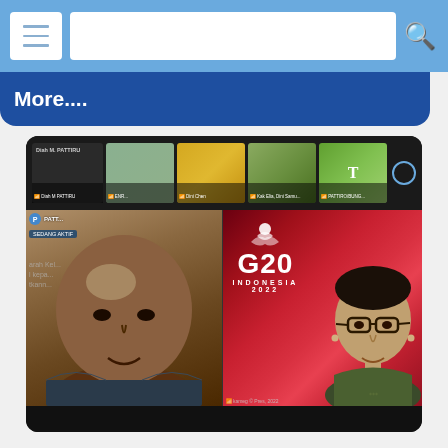More....
[Figure (screenshot): Screenshot of an online video conference (likely Zoom or similar platform) showing multiple participants. The top strip shows participant tiles. The main area shows two video feeds split: left side shows a man speaking, right side shows a G20 Indonesia 2022 branded background with another man visible.]
PATTIRO Encourages Fiscal Incentives for Regions Implementing TAPE/TAKE